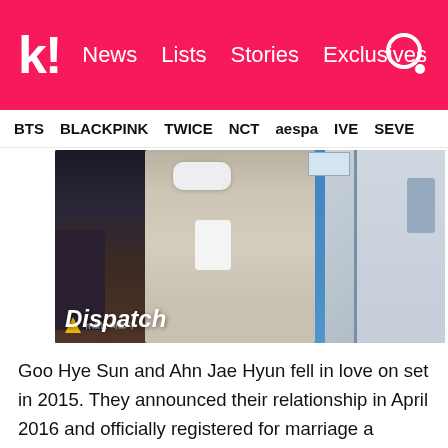k! News Lists Stories Exclusives
BTS BLACKPINK TWICE NCT aespa IVE SEVE
[Figure (photo): Two people wearing face masks at what appears to be an airport or indoor venue, with a blue background and elevator visible on the right. Dispatch watermark in lower left.]
Goo Hye Sun and Ahn Jae Hyun fell in love on set in 2015. They announced their relationship in April 2016 and officially registered for marriage a month later. Fans thought they were the perfect couple until news of their impending divorce broke in August 2019.